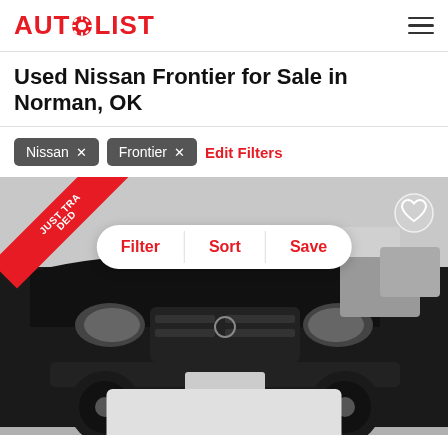AUTOLIST
Used Nissan Frontier for Sale in Norman, OK
Nissan × Frontier × Edit Filters
[Figure (photo): Black Nissan Frontier truck photographed from the front, parked in a lot. A red 'JUST TRADED' ribbon is in the top-left corner. A Filter/Sort/Save action bar overlay is centered in the image. A heart icon is in the top-right. A partial grey card is visible at the bottom.]